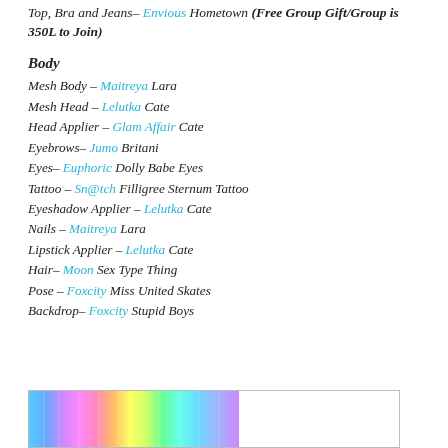Top, Bra and Jeans– Envious Hometown (Free Group Gift/Group is 350L to Join)
Body
Mesh Body – Maitreya Lara
Mesh Head – Lelutka Cate
Head Applier – Glam Affair Cate
Eyebrows– Jumo Britani
Eyes– Euphoric Dolly Babe Eyes
Tattoo – Sn@tch Filligree Sternum Tattoo
Eyeshadow Applier – Lelutka Cate
Nails – Maitreya Lara
Lipstick Applier – Lelutka Cate
Hair– Moon Sex Type Thing
Pose – Foxcity Miss United Skates
Backdrop– Foxcity Stupid Boys
[Figure (other): Rainbow colored image strip partially visible at bottom of page with white box to the right]